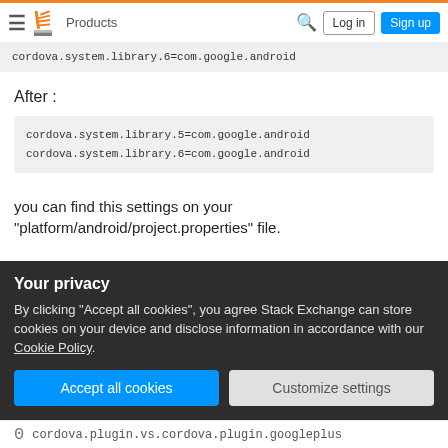Stack Overflow — Products | Log in | Sign up
cordova.system.library.6=com.google.android
After :
cordova.system.library.5=com.google.android
cordova.system.library.6=com.google.android
you can find this settings on your "platform/android/project.properties" file.
Share   Follow                 answered Aug 11, 2019 at 10:38
Your privacy
By clicking "Accept all cookies", you agree Stack Exchange can store cookies on your device and disclose information in accordance with our Cookie Policy.
Accept all cookies   Customize settings
0    cordova.plugin.vs.cordova.plugin.googleplus